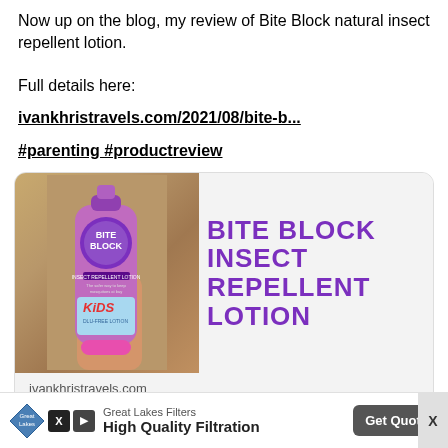Now up on the blog, my review of Bite Block natural insect repellent lotion.
Full details here:
ivankhristravels.com/2021/08/bite-b...
#parenting #productreview
[Figure (photo): Card preview showing a hand holding a Bite Block Kids Insect Repellent Lotion bottle, with purple branding. Right panel shows text: BITE BLOCK INSECT REPELLENT LOTION in large purple letters on light grey background.]
ivankhristravels.com
Bite Block: Natural Insect Repellent Products For Kids...
Great Lakes Filters — High Quality Filtration — Get Quote